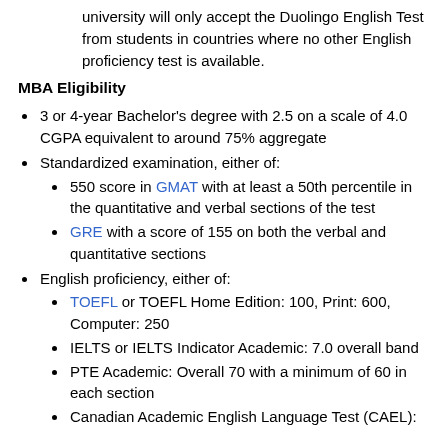university will only accept the Duolingo English Test from students in countries where no other English proficiency test is available.
MBA Eligibility
3 or 4-year Bachelor's degree with 2.5 on a scale of 4.0 CGPA equivalent to around 75% aggregate
Standardized examination, either of:
550 score in GMAT with at least a 50th percentile in the quantitative and verbal sections of the test
GRE with a score of 155 on both the verbal and quantitative sections
English proficiency, either of:
TOEFL or TOEFL Home Edition: 100, Print: 600, Computer: 250
IELTS or IELTS Indicator Academic: 7.0 overall band
PTE Academic: Overall 70 with a minimum of 60 in each section
Canadian Academic English Language Test (CAEL):